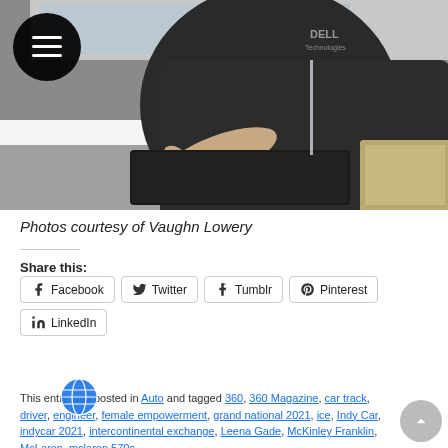[Figure (photo): A person wearing a dark Dell Technologies branded hoodie reaching forward with their hand over a counter, with a tablet/device visible. A hamburger menu icon circle is overlaid in the top-left corner of the image.]
Photos courtesy of Vaughn Lowery
Share this:
Facebook   Twitter   Tumblr   Pinterest   LinkedIn
This entry was posted in Auto and tagged 360, 360 Magazine, car track, driver, engineer, female empowerment, grand national 2021, ice, Indy Car, indycar 2021, intercontinental exchange, Leena Gade, McKinley Franklin, McLaren, mclaren 570s,